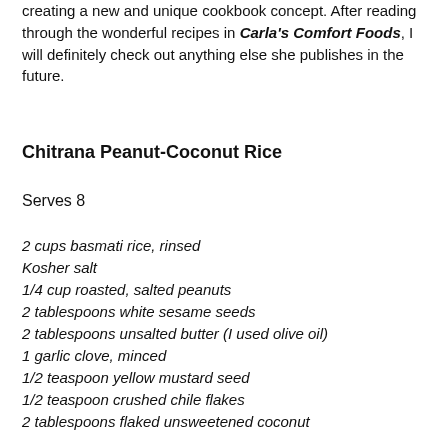creating a new and unique cookbook concept. After reading through the wonderful recipes in Carla's Comfort Foods, I will definitely check out anything else she publishes in the future.
Chitrana Peanut-Coconut Rice
Serves 8
2 cups basmati rice, rinsed
Kosher salt
1/4 cup roasted, salted peanuts
2 tablespoons white sesame seeds
2 tablespoons unsalted butter (I used olive oil)
1 garlic clove, minced
1/2 teaspoon yellow mustard seed
1/2 teaspoon crushed chile flakes
2 tablespoons flaked unsweetened coconut
1 tablespoon light or dark brown sugar
1/2 teaspoon ground turmeric
Grated zest and juice of 1 lemon
2 tablespoons torn fresh basil leaves